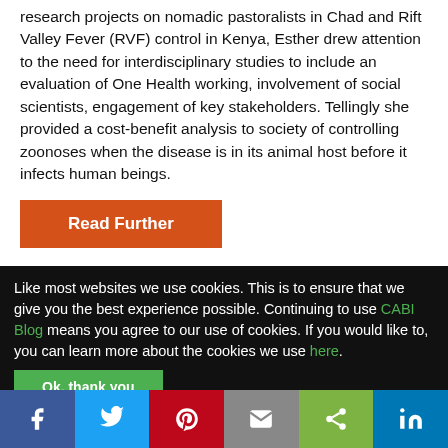research projects on nomadic pastoralists in Chad and Rift Valley Fever (RVF) control in Kenya, Esther drew attention to the need for interdisciplinary studies to include an evaluation of One Health working, involvement of social scientists, engagement of key stakeholders. Tellingly she provided a cost-benefit analysis to society of controlling zoonoses when the disease is in its animal host before it infects human beings.
Read Further
Like most websites we use cookies. This is to ensure that we give you the best experience possible. Continuing to use CABI Blog means you agree to our use of cookies. If you would like to, you can learn more about the cookies we use here.